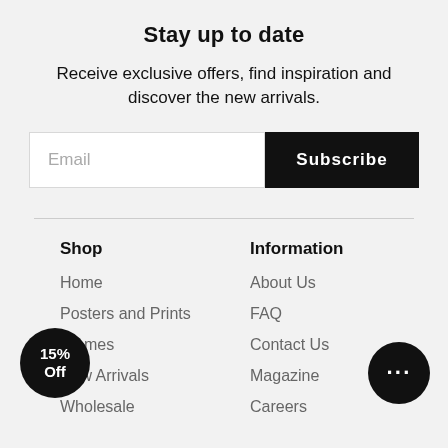Stay up to date
Receive exclusive offers, find inspiration and discover the new arrivals.
Email
Subscribe
Shop
Information
Home
About Us
Posters and Prints
FAQ
Frames
Contact Us
New Arrivals
Magazine
Wholesale
Careers
15% Off
···